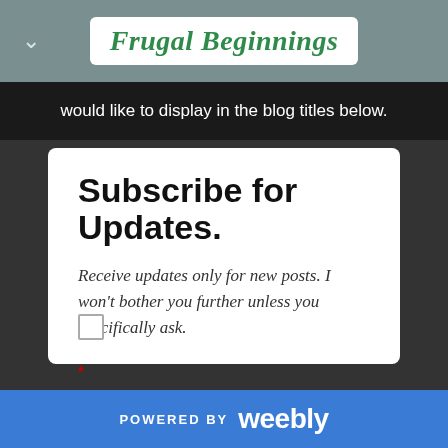Frugal Beginnings
would like to display in the blog titles below.
Subscribe for Updates.
Receive updates only for new posts. I won't bother you further unless you specifically ask.
* Indicates required field
Email *
POWERED BY weebly